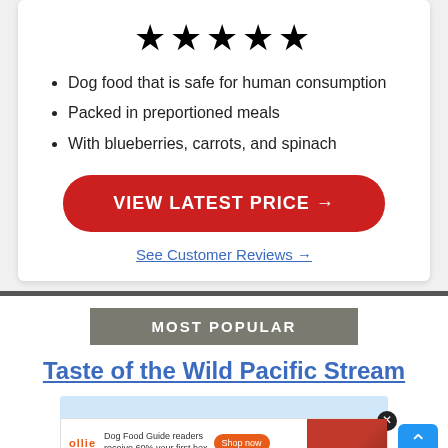[Figure (other): Five gold star rating icons displayed in a row]
Dog food that is safe for human consumption
Packed in preportioned meals
With blueberries, carrots, and spinach
VIEW LATEST PRICE →
See Customer Reviews →
MOST POPULAR
Taste of the Wild Pacific Stream
[Figure (photo): Advertisement banner for Ollie dog food with text 'Dog Food Guide readers receive 60% your first box' and a Shop Now button and food imagery]